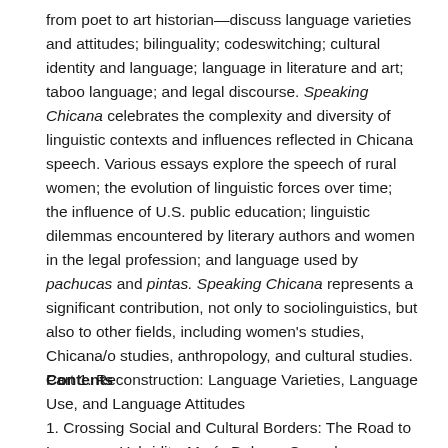from poet to art historian—discuss language varieties and attitudes; bilinguality; codeswitching; cultural identity and language; language in literature and art; taboo language; and legal discourse. Speaking Chicana celebrates the complexity and diversity of linguistic contexts and influences reflected in Chicana speech. Various essays explore the speech of rural women; the evolution of linguistic forces over time; the influence of U.S. public education; linguistic dilemmas encountered by literary authors and women in the legal profession; and language used by pachucas and pintas. Speaking Chicana represents a significant contribution, not only to sociolinguistics, but also to other fields, including women's studies, Chicana/o studies, anthropology, and cultural studies. Contents
Part 1. Reconstruction: Language Varieties, Language Use, and Language Attitudes
1. Crossing Social and Cultural Borders: The Road to Language Hybridity. María Dolores Gonzales